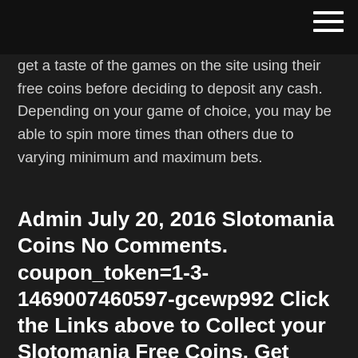get a taste of the games on the site using their free coins before deciding to deposit any cash. Depending on your game of choice, you may be able to spin more times than others due to varying minimum and maximum bets.
Admin July 20, 2016 Slotomania Coins No Comments. coupon_token=1-3-1469007460597-gcewp992 Click the Links above to Collect your Slotomania Free Coins. Get extra Free Coins & Spins. All bonus links came from Slotomania Slot